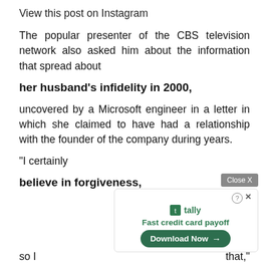View this post on Instagram
The popular presenter of the CBS television network also asked him about the information that spread about
her husband's infidelity in 2000,
uncovered by a Microsoft engineer in a letter in which she claimed to have had a relationship with the founder of the company during years.
"I certainly
believe in forgiveness,
so I ... that,"
[Figure (screenshot): Advertisement overlay: Close X button, Tally app ad with 'Fast credit card payoff' text and 'Download Now' button]